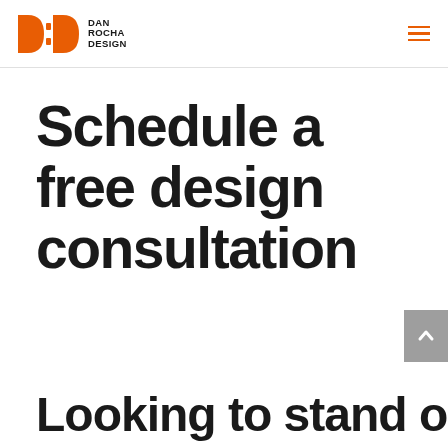DRD Dan Rocha Design
Schedule a free design consultation
Looking to stand out from